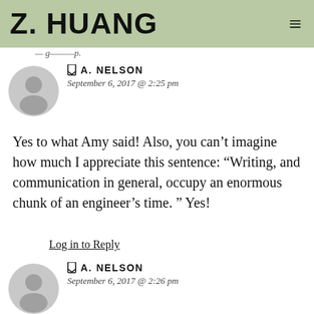Z. HUANG
— g———————p.
A. NELSON
September 6, 2017 @ 2:25 pm
Yes to what Amy said! Also, you can't imagine how much I appreciate this sentence: “Writing, and communication in general, occupy an enormous chunk of an engineer’s time. ” Yes!
Log in to Reply
A. NELSON
September 6, 2017 @ 2:26 pm